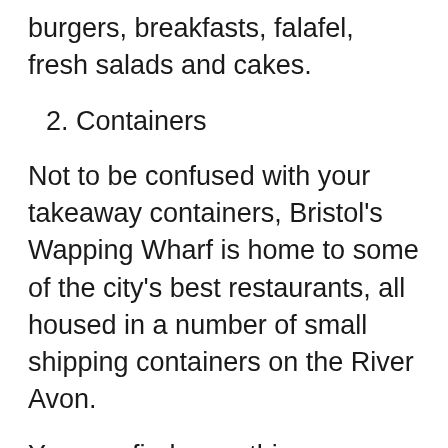burgers, breakfasts, falafel, fresh salads and cakes.
2. Containers
Not to be confused with your takeaway containers, Bristol's Wapping Wharf is home to some of the city's best restaurants, all housed in a number of small shipping containers on the River Avon.
You can find everything your heart desires here, from tapas and curries, to the best of British seasonal cuisine.
For those looking for a knockout fine dining menu in an intimate setting, head to Tare. The set six course menu changes